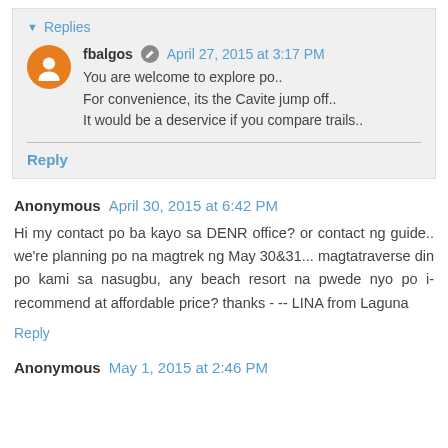Replies
fbalgos  April 27, 2015 at 3:17 PM
You are welcome to explore po..
For convenience, its the Cavite jump off..
It would be a deservice if you compare trails..
Reply
Anonymous  April 30, 2015 at 6:42 PM
Hi my contact po ba kayo sa DENR office? or contact ng guide.. we're planning po na magtrek ng May 30&31... magtatraverse din po kami sa nasugbu, any beach resort na pwede nyo po i-recommend at affordable price? thanks -- -- LINA from Laguna
Reply
Anonymous  May 1, 2015 at 2:46 PM